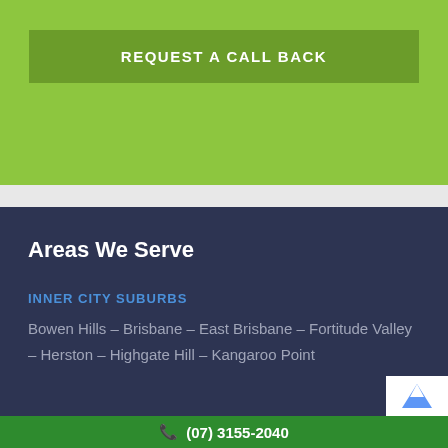REQUEST A CALL BACK
Areas We Serve
INNER CITY SUBURBS
Bowen Hills – Brisbane – East Brisbane – Fortitude Valley – Herston – Highgate Hill – Kangaroo Point
(07) 3155-2040